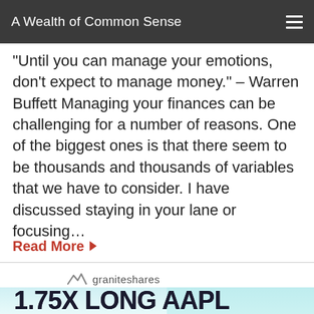A Wealth of Common Sense
“Until you can manage your emotions, don’t expect to manage money.” – Warren Buffett Managing your finances can be challenging for a number of reasons. One of the biggest ones is that there seem to be thousands and thousands of variables that we have to consider. I have discussed staying in your lane or focusing…
Read More ▶
[Figure (logo): GraniteShares logo with mountain icon and text 'graniteshares']
1.75X LONG AAPL DAILY ETF